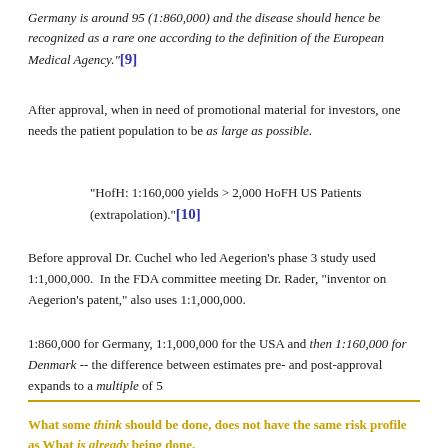Germany is around 95 (1:860,000) and the disease should hence be recognized as a rare one according to the definition of the European Medical Agency."[9]
After approval, when in need of promotional material for investors, one needs the patient population to be as large as possible.
"HofH: 1:160,000 yields > 2,000 HoFH US Patients (extrapolation)."[10]
Before approval Dr. Cuchel who led Aegerion’s phase 3 study used 1:1,000,000.  In the FDA committee meeting Dr. Rader, “inventor on Aegerion’s patent,” also uses 1:1,000,000.
1:860,000 for Germany, 1:1,000,000 for the USA and then 1:160,000 for Denmark -- the difference between estimates pre- and post-approval expands to a multiple of 5
What some think should be done, does not have the same risk profile as What is already being done.